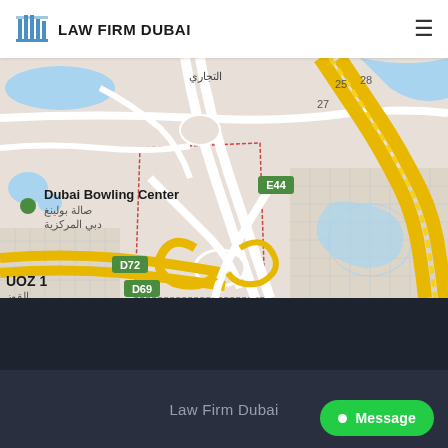LAW FIRM DUBAI
[Figure (map): Google Maps screenshot showing Dubai area with Dubai Bowling Center label, road labels E44, D72, D69, Arabic text, road network with yellow highway markings, blue water features, and gray urban grid]
Law Firm Dubai
Message